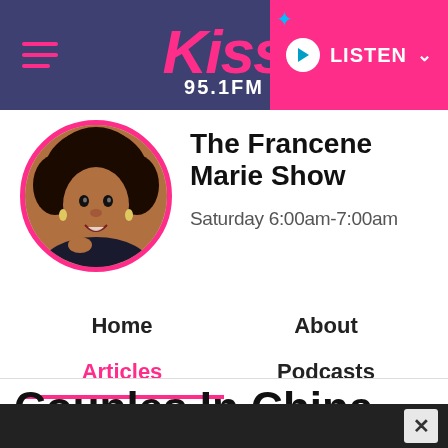Kiss 95.1 FM — LISTEN
[Figure (logo): Circular profile photo of Francene Marie with hot pink border, woman with large natural hair and jewelry]
The Francene Marie Show
Saturday 6:00am-7:00am
Home
Articles
About
Podcasts
Couples In China Can